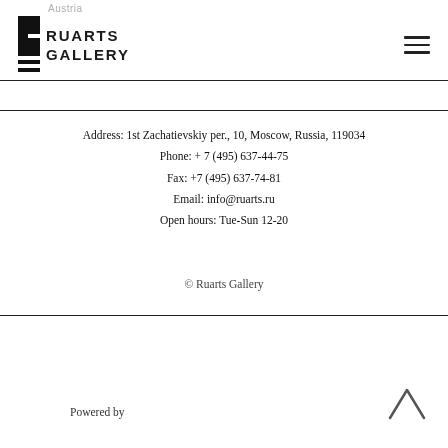Austria RUARTS GALLERY
Address: 1st Zachatievskiy per., 10, Moscow, Russia, 119034
Phone: + 7 (495) 637-44-75
Fax: +7 (495) 637-74-81
Email: info@ruarts.ru
Open hours: Tue-Sun 12-20
© Ruarts Gallery
Powered by